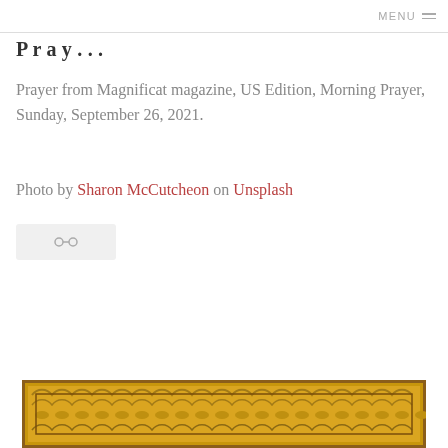MENU ≡
P r a y . . .
Prayer from Magnificat magazine, US Edition, Morning Prayer, Sunday, September 26, 2021.
Photo by Sharon McCutcheon on Unsplash
[Figure (other): Share/link button with chain-link icon on a light grey rounded rectangle background]
[Figure (other): Bottom portion of an ornate gold decorative picture frame with leaf/scroll motifs visible at the very bottom of the page]